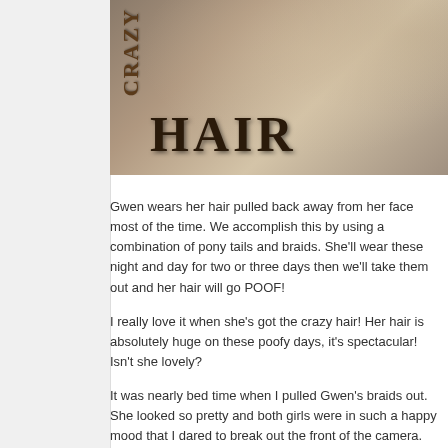[Figure (photo): Photo of a girl with crazy hair, wearing a floral pajama top. Decorative letter text 'CRAZY' written vertically on left and 'HAIR' in large decorative letters at the bottom of the photo.]
Gwen wears her hair pulled back away from her face most of the time.  We accomplish this by using a combination of pony tails and braids.  She'll wear these night and day for two or three days then we'll take them out and her hair will go POOF!
I really love it when she's got the crazy hair!  Her hair is absolutely huge on these poofy days, it's spectacular!  Isn't she lovely?
It was nearly bed time when I pulled Gwen's braids out.  She looked so pretty and both girls were in such a happy mood that I dared to break out the front of the camera.  The results really do speak for thems